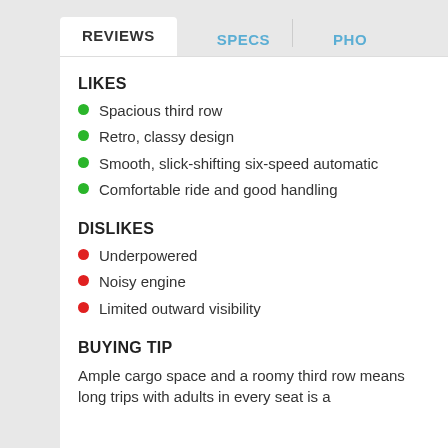REVIEWS   SPECS   PHO
LIKES
Spacious third row
Retro, classy design
Smooth, slick-shifting six-speed automatic
Comfortable ride and good handling
DISLIKES
Underpowered
Noisy engine
Limited outward visibility
BUYING TIP
Ample cargo space and a roomy third row means long trips with adults in every seat is a